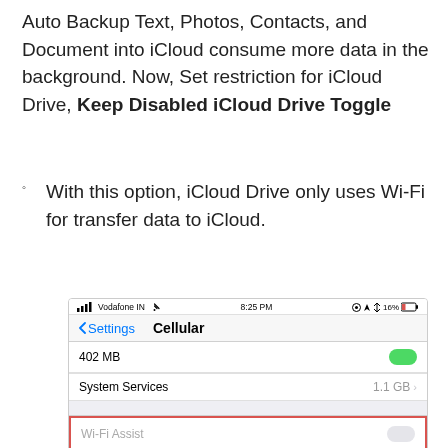Auto Backup Text, Photos, Contacts, and Document into iCloud consume more data in the background. Now, Set restriction for iCloud Drive, Keep Disabled iCloud Drive Toggle
With this option, iCloud Drive only uses Wi-Fi for transfer data to iCloud.
[Figure (screenshot): iPhone Cellular settings screenshot showing Vodafone IN carrier, 8:25 PM time, 16% battery, Settings back navigation, Cellular title, 402 MB usage with green toggle, System Services with 1.1 GB, gray section, and Wi-Fi Assist row with red border around it and disabled toggle]